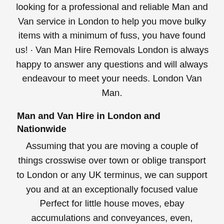looking for a professional and reliable Man and Van service in London to help you move bulky items with a minimum of fuss, you have found us! · Van Man Hire Removals London is always happy to answer any questions and will always endeavour to meet your needs. London Van Man.
Man and Van Hire in London and Nationwide
Assuming that you are moving a couple of things crosswise over town or oblige transport to London or any UK terminus, we can support you and at an exceptionally focused value Perfect for little house moves, ebay accumulations and conveyances, even, bedside moves, student moves and we do offer an affordable service at a reasonable price even complete with trolleys, covering blankets and straps to secure your things and a charming friendly driver, he will aid you with lifting and